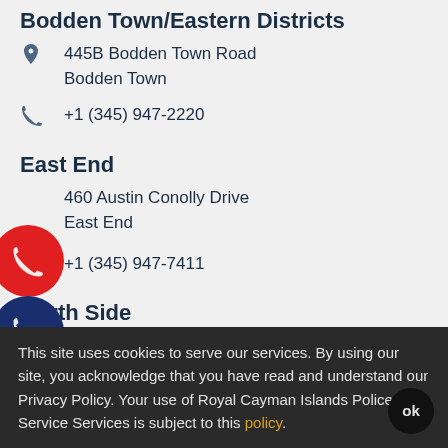Bodden Town/Eastern Districts
445B Bodden Town Road
Bodden Town
+1 (345) 947-2220
East End
460 Austin Conolly Drive
East End
+1 (345) 947-7411
North Side
53 Hutland Road
North Side
This site uses cookies to serve our services. By using our site, you acknowledge that you have read and understand our Privacy Policy. Your use of Royal Cayman Islands Police Service Services is subject to this policy.